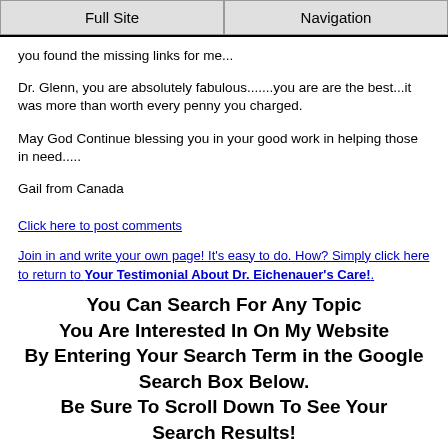Full Site | Navigation
you found the missing links for me...
Dr. Glenn, you are absolutely fabulous.......you are are the best...it was more than worth every penny you charged.
May God Continue blessing you in your good work in helping those in need.....
Gail from Canada
Click here to post comments
Join in and write your own page! It's easy to do. How? Simply click here to return to Your Testimonial About Dr. Eichenauer's Care!.
You Can Search For Any Topic You Are Interested In On My Website By Entering Your Search Term in the Google Search Box Below. Be Sure To Scroll Down To See Your Search Results!